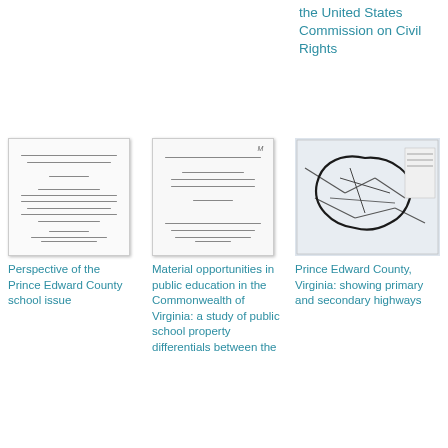the United States Commission on Civil Rights
[Figure (photo): Scanned document cover page for 'Perspective of the Prince Edward County school issue']
Perspective of the Prince Edward County school issue
[Figure (photo): Scanned document page for 'Material opportunities in public education in the Commonwealth of Virginia: a study of public school property differentials between the']
Material opportunities in public education in the Commonwealth of Virginia: a study of public school property differentials between the
[Figure (map): Map of Prince Edward County, Virginia showing primary and secondary highways]
Prince Edward County, Virginia: showing primary and secondary highways